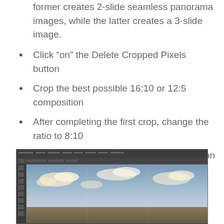former creates 2-slide seamless panorama images, while the latter creates a 3-slide image.
Click “on” the Delete Cropped Pixels button
Crop the best possible 16:10 or 12:5 composition
After completing the first crop, change the ratio to 8:10
Click “off” the Delete Cropped Pixels button
[Figure (screenshot): Screenshot of Adobe Photoshop showing a panoramic landscape image with sky and clouds being edited, with toolbars and panels visible]